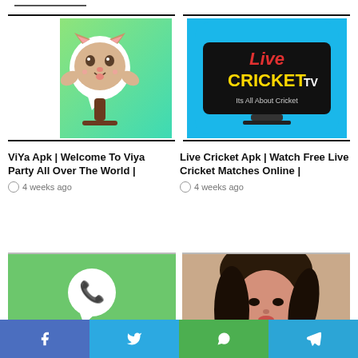[Figure (screenshot): ViYa Apk app icon - cat microphone on green gradient background]
[Figure (screenshot): Live Cricket TV app icon - TV with Live Cricket TV text on blue background]
ViYa Apk | Welcome To Viya Party All Over The World |
4 weeks ago
Live Cricket Apk | Watch Free Live Cricket Matches Online |
4 weeks ago
[Figure (screenshot): Best And Active Whatsapp Groups - green background with WhatsApp logo]
[Figure (photo): Young woman with dark hair in red outfit]
Facebook | Twitter | WhatsApp | Telegram social share bar